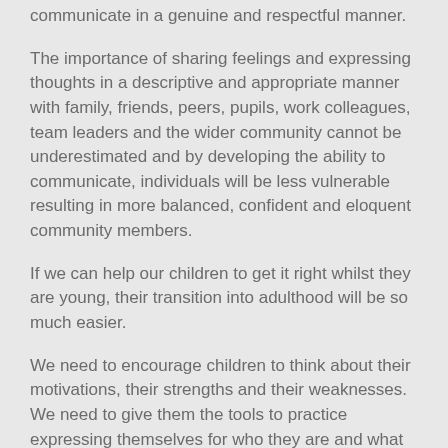communicate in a genuine and respectful manner.
The importance of sharing feelings and expressing thoughts in a descriptive and appropriate manner with family, friends, peers, pupils, work colleagues, team leaders and the wider community cannot be underestimated and by developing the ability to communicate, individuals will be less vulnerable resulting in more balanced, confident and eloquent community members.
If we can help our children to get it right whilst they are young, their transition into adulthood will be so much easier.
We need to encourage children to think about their motivations, their strengths and their weaknesses. We need to give them the tools to practice expressing themselves for who they are and what they have to say.